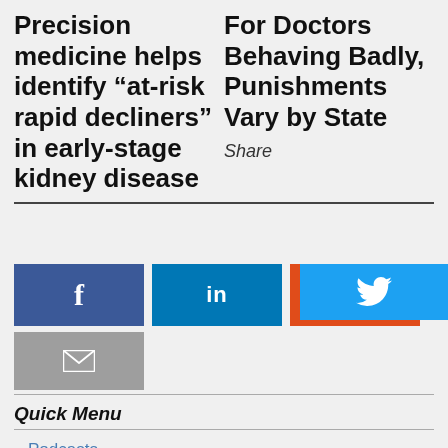Precision medicine helps identify “at-risk rapid decliners” in early-stage kidney disease
For Doctors Behaving Badly, Punishments Vary by State
Share
[Figure (other): Social share buttons: Twitter (blue bird), Facebook (f), LinkedIn (in), Reddit (alien icon), Email (envelope)]
Quick Menu
Podcasts
COVID-19 Articles